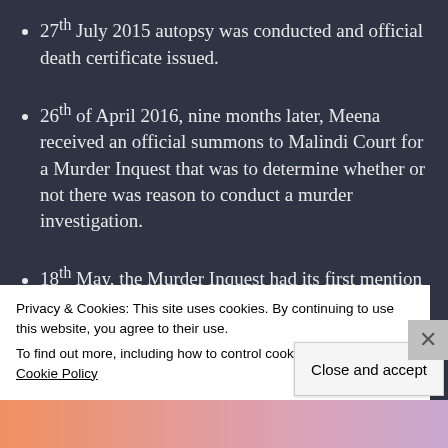27th July 2015 autopsy was conducted and official death certificate issued.
26th of April 2016, nine months later, Meena received an official summons to Malindi Court for a Murder Inquest that was to determine whether or not there was reason to conduct a murder investigation.
18th May, the Murder Inquest had its first mention at Malindi Law Courts and was postponed.
Privacy & Cookies: This site uses cookies. By continuing to use this website, you agree to their use. To find out more, including how to control cookies, see here: Cookie Policy